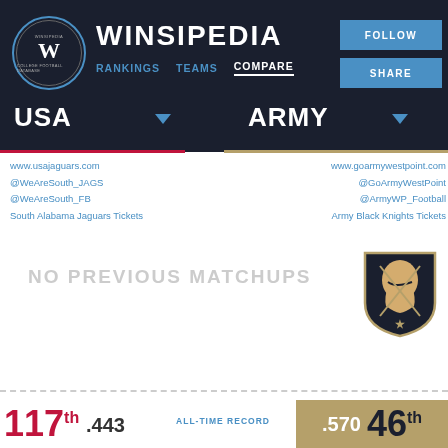[Figure (screenshot): Winsipedia website header with logo, navigation (Rankings, Teams, Compare), and Follow/Share buttons]
WINSIPEDIA
RANKINGS   TEAMS   COMPARE
FOLLOW
SHARE
USA
ARMY
www.usajaguars.com
@WeAreSouth_JAGS
@WeAreSouth_FB
South Alabama Jaguars Tickets
www.goarmywestpoint.com
@GoArmyWestPoint
@ArmyWP_Football
Army Black Knights Tickets
NO PREVIOUS MATCHUPS
[Figure (logo): Army Black Knights shield logo]
ALL-TIME RECORD
117th  .443
.570  46th